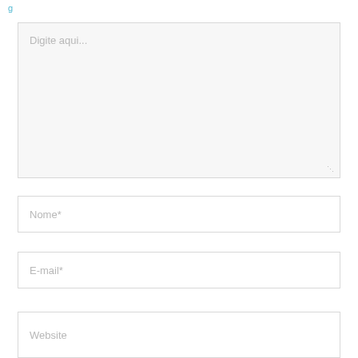[Figure (screenshot): Web form screenshot showing a large text area with placeholder 'Digite aqui...' and three input fields labeled 'Nome*', 'E-mail*', and 'Website'.]
Digite aqui...
Nome*
E-mail*
Website